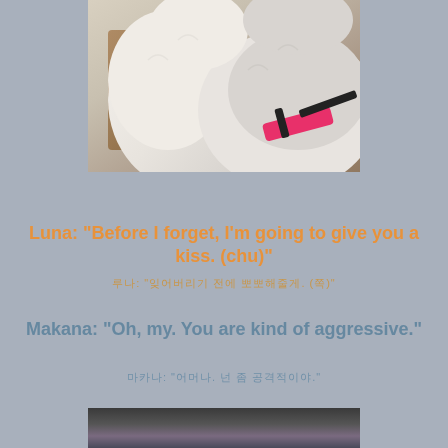[Figure (photo): Close-up photo of two fluffy white dogs, one wearing a pink and black collar, near a wooden chair]
Luna: "Before I forget, I'm going to give you a kiss. (chu)"
루나: "잊어버리기 전에 뽀뽀해줄게. (쪽)"
Makana: "Oh, my. You are kind of aggressive."
마카나: "어머나. 넌 좀 공격적이야."
[Figure (photo): Partial photo at bottom of page showing what appears to be a table setting or food scene]